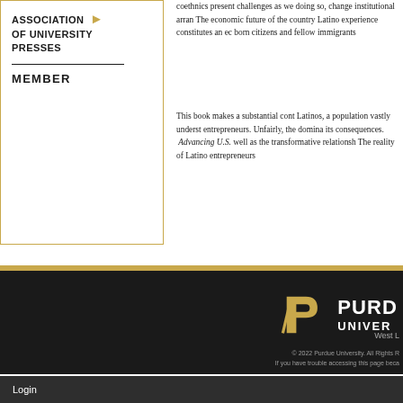[Figure (logo): Association of University Presses Member logo with gold arrow and border]
coethnics present challenges as well as opportunities, and by doing so, change institutional arrangements. The economic future of the country depends on how the Latino experience constitutes an enduring struggle between native-born citizens and fellow immigrants.
This book makes a substantial contribution to our understanding of Latinos, a population vastly understudied as immigrants and as entrepreneurs. Unfairly, the dominant narrative focuses on immigration and its consequences. Advancing U.S. — exposes the challenges as well as the transformative relationships Latino entrepreneurs maintain. The reality of Latino entrepreneurs
[Figure (logo): Purdue University logo with stylized P and wordmark PURDUE UNIVERSITY on dark background]
West L
© 2022 Purdue University. All Rights R If you have trouble accessing this page beca
Login